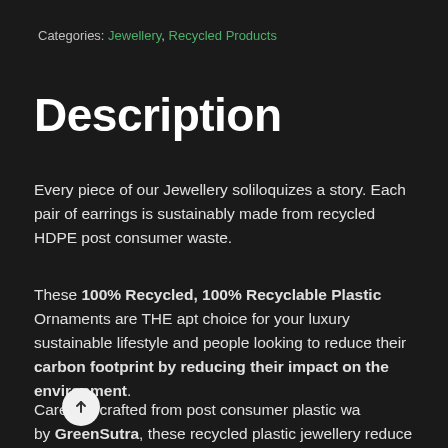Categories: Jewellery, Recycled Products
Description
Every piece of our Jewellery soliloquizes a story. Each pair of earrings is sustainably made from recycled HDPE post consumer waste.
These 100% Recycled, 100% Recyclable Plastic Ornaments are THE apt choice for your luxury sustainable lifestyle and people looking to reduce their carbon footprint by reducing their impact on the environment.
Carefully crafted from post consumer plastic waste by GreenSutra, these recycled plastic jewellery reduce the impact on the landfills, oceans